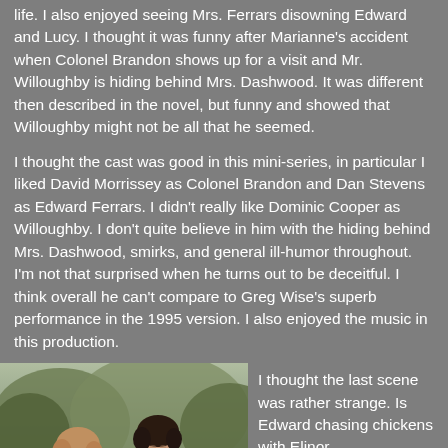life. I also enjoyed seeing Mrs. Ferrars disowning Edward and Lucy. I thought it was funny after Marianne's accident when Colonel Brandon shows up for a visit and Mr. Willoughby is hiding behind Mrs. Dashwood. It was different then described in the novel, but funny and showed that Willoughby might not be all that he seemed.
I thought the cast was good in this mini-series, in particular I liked David Morrissey as Colonel Brandon and Dan Stevens as Edward Ferrars. I didn't really like Dominic Cooper as Willoughby. I don't quite believe in him with the hiding behind Mrs. Dashwood, smirks, and general ill-humor throughout. I'm not that surprised when he turns out to be deceitful. I think overall he can't compare to Greg Wise's superb performance in the 1995 version. I also enjoyed the music in this production.
[Figure (photo): A young woman and young man in period costume standing outdoors with greenery in background, appearing to be from a film or TV production adaptation of Sense and Sensibility.]
I thought the last scene was rather strange. Is Edward chasing chickens with Elinor